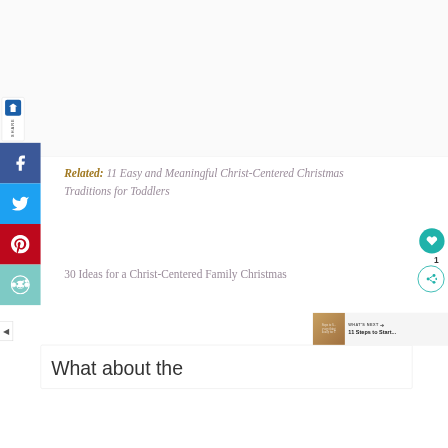[Figure (screenshot): Social share sidebar with logo, Facebook, Twitter, Pinterest, Reddit buttons on left side]
Related: 11 Easy and Meaningful Christ-Centered Christmas Traditions for Toddlers
30 Ideas for a Christ-Centered Family Christmas
[Figure (other): WHAT'S NEXT panel with thumbnail and text: 11 Steps to Start...]
What about the